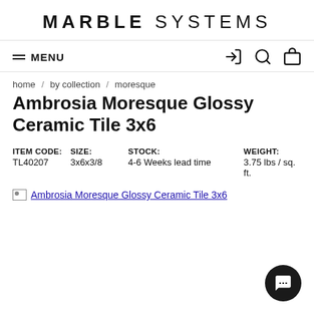MARBLE SYSTEMS
≡ MENU
home / by collection / moresque
Ambrosia Moresque Glossy Ceramic Tile 3x6
| ITEM CODE: | SIZE: | STOCK: | WEIGHT: |
| --- | --- | --- | --- |
| TL40207 | 3x6x3/8 | 4-6 Weeks lead time | 3.75 lbs / sq. ft. |
[Figure (photo): Broken image placeholder for Ambrosia Moresque Glossy Ceramic Tile 3x6]